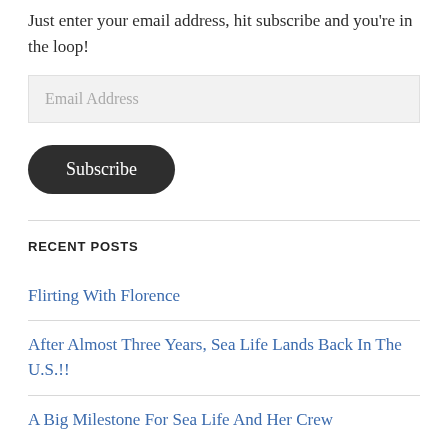Just enter your email address, hit subscribe and you're in the loop!
Email Address
Subscribe
RECENT POSTS
Flirting With Florence
After Almost Three Years, Sea Life Lands Back In The U.S.!!
A Big Milestone For Sea Life And Her Crew